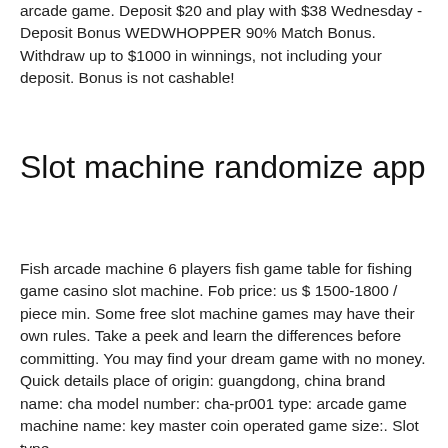arcade game. Deposit $20 and play with $38 Wednesday - Deposit Bonus WEDWHOPPER 90% Match Bonus. Withdraw up to $1000 in winnings, not including your deposit. Bonus is not cashable!
Slot machine randomize app
Fish arcade machine 6 players fish game table for fishing game casino slot machine. Fob price: us $ 1500-1800 / piece min. Some free slot machine games may have their own rules. Take a peek and learn the differences before committing. You may find your dream game with no money. Quick details place of origin: guangdong, china brand name: cha model number: cha-pr001 type: arcade game machine name: key master coin operated game size:. Slot type